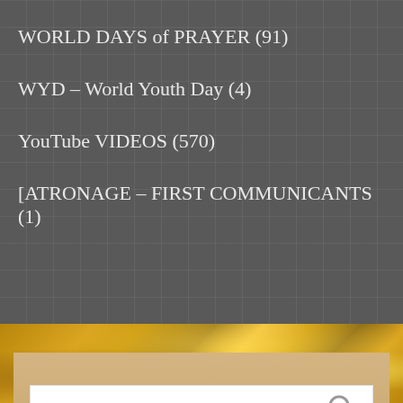WORLD DAYS of PRAYER (91)
WYD – World Youth Day (4)
YouTube VIDEOS (570)
[ATRONAGE – FIRST COMMUNICANTS (1)
Search ...
Recent Comments